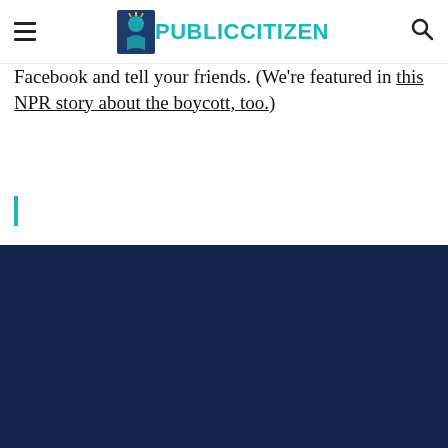Public Citizen — navigation header with hamburger menu, Public Citizen logo, and search icon
Facebook and tell your friends. (We're featured in this NPR story about the boycott, too.)
[Figure (logo): Teal vertical bar / blockquote marker]
[Figure (illustration): Dark navy blue footer section with faint text and a white card panel at the bottom]